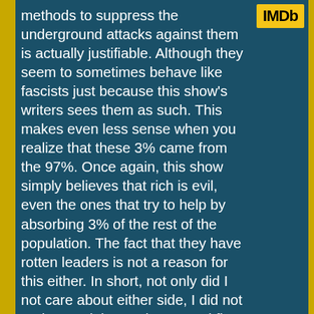[Figure (logo): IMDb logo — yellow rectangle with bold black text 'IMDb']
methods to suppress the underground attacks against them is actually justifiable. Although they seem to sometimes behave like fascists just because this show's writers sees them as such. This makes even less sense when you realize that these 3% came from the 97%. Once again, this show simply believes that rich is evil, even the ones that try to help by absorbing 3% of the rest of the population. The fact that they have rotten leaders is not a reason for this either. In short, not only did I not care about either side, I did not understand them. The second flaw, which is much less fatal, is all of these spy games could have been transported into any underground show about a war resistance, or even one about the cold war, with only minor changes. The sci-fi aspect is simply unnecessary (and the gadgets are not too far off from today's technology). So not only is there no actual dystopia, their idea of a sci-fi dystopia is underused.